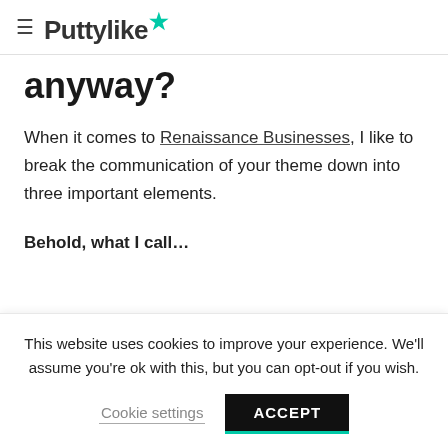≡ Puttylike★
anyway?
When it comes to Renaissance Businesses, I like to break the communication of your theme down into three important elements.
Behold, what I call…
— (partial/cut off)
This website uses cookies to improve your experience. We'll assume you're ok with this, but you can opt-out if you wish.
Cookie settings  ACCEPT